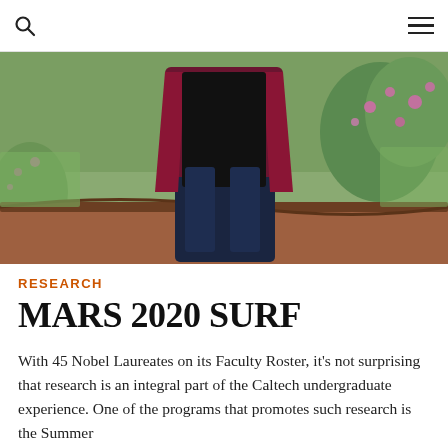[search icon] [menu icon]
[Figure (photo): A person standing outdoors wearing dark jeans and a maroon/burgundy top, surrounded by green grass and pink flowering shrubs with reddish-brown mulch on the ground.]
RESEARCH
MARS 2020 SURF
With 45 Nobel Laureates on its Faculty Roster, it's not surprising that research is an integral part of the Caltech undergraduate experience. One of the programs that promotes such research is the Summer